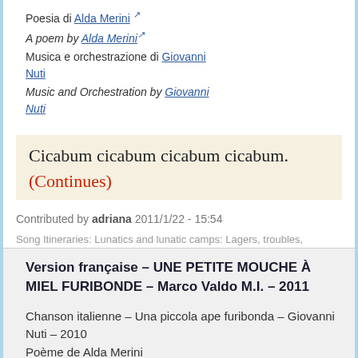Poesia di Alda Merini [external link]
A poem by Alda Merini [external link]
Musica e orchestrazione di Giovanni Nuti
Music and Orchestration by Giovanni Nuti
Cicabum cicabum cicabum cicabum.
(Continues)
Contributed by adriana 2011/1/22 - 15:54
Song Itineraries: Lunatics and lunatic camps: Lagers, troubles, repression, freedom
Version française – UNE PETITE MOUCHE À MIEL FURIBONDE – Marco Valdo M.I. – 2011
Chanson italienne – Una piccola ape furibonda – Giovanni Nuti – 2010
Poème de Alda Merini